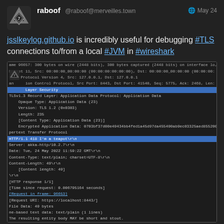raboof @raboof@merveilles.town — May 24
jsslkeylog.github.io is incredibly useful for debugging #TLS connections to/from a local #JVM in #wireshark
[Figure (screenshot): Wireshark packet capture screenshot showing TLS 1.3 layer and HTTP/1.1 418 I'm a teapot response]
0 (action bar)
raboof @raboof@merveilles.town — May 22
I haven't used #flatpak, and it sounds like I wouldn't like it as a packaging format.